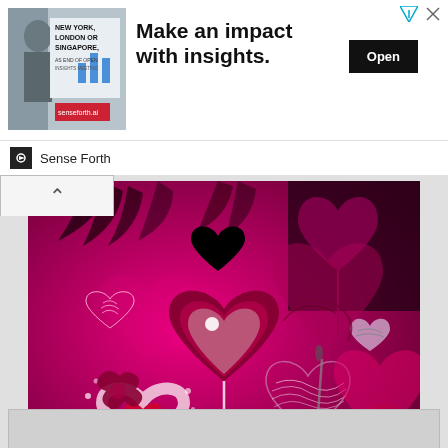[Figure (screenshot): Advertisement banner: image of man in suit with text 'NEW YORK, LONDON OR SINGAPORE,' on left; large bold text 'Make an impact with insights.' in center; black 'Open' button on right. Brand bar below shows 'Sense Forth' logo.]
[Figure (illustration): Decorative digital illustration with pink/magenta background featuring multiple heart shapes in various styles: solid black heart, gradient heart, white outlined scribble heart, small lace-pattern hearts, large dark pink heart outlines, white splatter heart with red center, and various ornamental floral/feather swirl elements in dark pink and black.]
[Figure (screenshot): Partially visible bottom card/panel with gray background, cut off at bottom of page.]